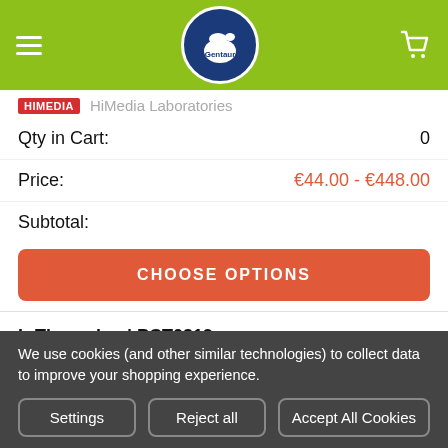[Figure (screenshot): Gentaur e-commerce navigation bar with hamburger menu, Gentaur logo (blue circle with goat), and cart icon on green background]
HiMedia Laboratories
Qty in Cart: 0
Price: €44.00 - €448.00
Subtotal:
CHOOSE OPTIONS
L-Threonine | PCT0319
HiMedia Laboratories
We use cookies (and other similar technologies) to collect data to improve your shopping experience.
Settings
Reject all
Accept All Cookies